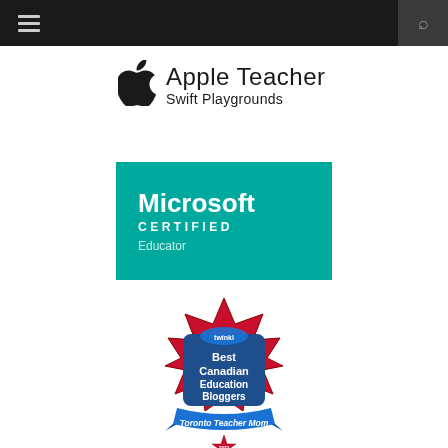[Figure (screenshot): Dark navigation bar with hamburger menu on left and search icon on right]
[Figure (logo): Apple Teacher Swift Playgrounds badge with Apple logo and text]
[Figure (logo): Microsoft Certified Educator badge on teal/green background]
[Figure (logo): Best Canadian Education Bloggers badge with maple leaf design, Toronto Teacher Mom label, 2022 star]